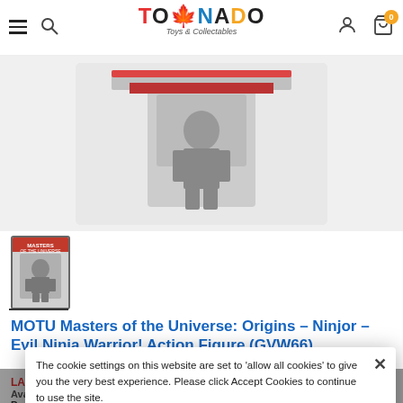Tornado Toys & Collectables — navigation header with hamburger menu, search, logo, user icon, cart (0)
[Figure (photo): Product image of MOTU Masters of the Universe Origins Ninjor Action Figure, shown in packaging (partial view), white/grey background]
[Figure (photo): Thumbnail image of MOTU Ninjor action figure product packaging (small card art thumbnail)]
MOTU Masters of the Universe: Origins – Ninjor – Evil Ninja Warrior! Action Figure (GVW66)
LAST ONE!
Availability  Out of stock
Product type  Action Figures
Vendor  Mattel
The cookie settings on this website are set to 'allow all cookies' to give you the very best experience. Please click Accept Cookies to continue to use the site.
ACCEPT COOKIES